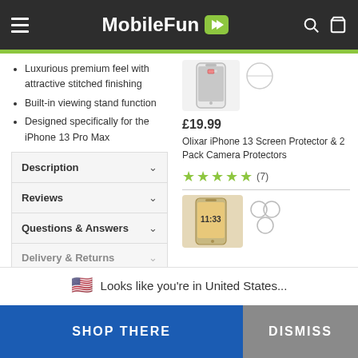MobileFun
Luxurious premium feel with attractive stitched finishing
Built-in viewing stand function
Designed specifically for the iPhone 13 Pro Max
Description
Reviews
Questions & Answers
Delivery & Returns
£19.99
Olixar iPhone 13 Screen Protector & 2 Pack Camera Protectors
★★★★★ (7)
[Figure (screenshot): iPhone product thumbnail image]
[Figure (screenshot): iPhone 13 screen protector product image]
Looks like you're in United States...
SHOP THERE
DISMISS